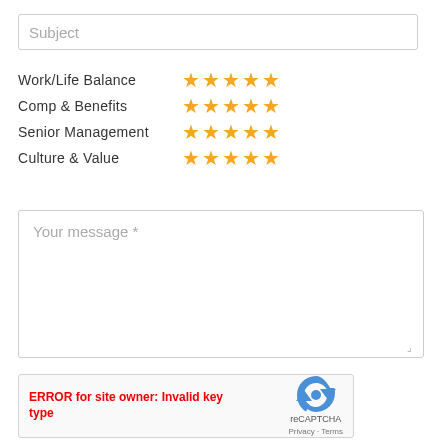Subject (placeholder input field)
Work/Life Balance — 5 stars
Comp & Benefits — 5 stars
Senior Management — 5 stars
Culture & Value — 5 stars
Your message *
ERROR for site owner: Invalid key type
[Figure (other): reCAPTCHA widget with error message 'ERROR for site owner: Invalid key type' and reCAPTCHA logo with Privacy - Terms links]